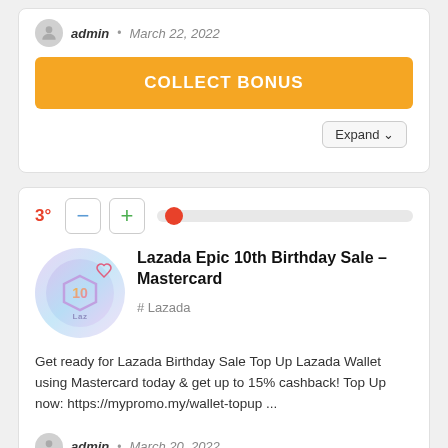admin · March 22, 2022
[Figure (screenshot): Orange COLLECT BONUS button]
[Figure (screenshot): Expand dropdown button]
[Figure (screenshot): Vote controls: 3 degree rating with minus, plus buttons and slider]
Lazada Epic 10th Birthday Sale – Mastercard
# Lazada
Get ready for Lazada Birthday Sale Top Up Lazada Wallet using Mastercard today & get up to 15% cashback! Top Up now: https://mypromo.my/wallet-topup ...
admin · March 20, 2022
[Figure (screenshot): Orange COLLECT BONUS button (partial)]